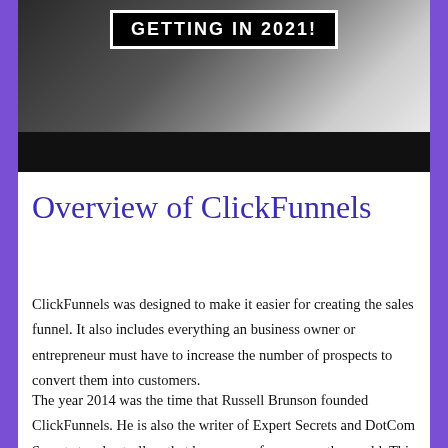[Figure (photo): Dark background image with a banner text reading 'GETTING IN 2021!' in white bold letters on a black box, and a black bar at the bottom. Right side shows partial image of a person.]
Overview of ClickFunnels
ClickFunnels was designed to make it easier for creating the sales funnel. It also includes everything an business owner or entrepreneur must have to increase the number of prospects to convert them into customers.
The year 2014 was the time that Russell Brunson founded ClickFunnels. He is also the writer of Expert Secrets and DotCom Secrets two bestsellers that have many fans across the world. This book provides a comprehensive guide on various marketing